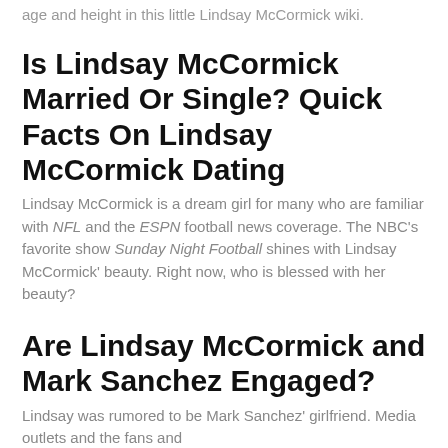age and height in this little Lindsay McCormick wiki.
Is Lindsay McCormick Married Or Single? Quick Facts On Lindsay McCormick Dating
Lindsay McCormick is a dream girl for many who are familiar with NFL and the ESPN football news coverage. The NBC's favorite show Sunday Night Football shines with Lindsay McCormick' beauty. Right now, who is blessed with her beauty?
Are Lindsay McCormick and Mark Sanchez Engaged?
Lindsay was rumored to be Mark Sanchez' girlfriend. Media outlets and the fans and